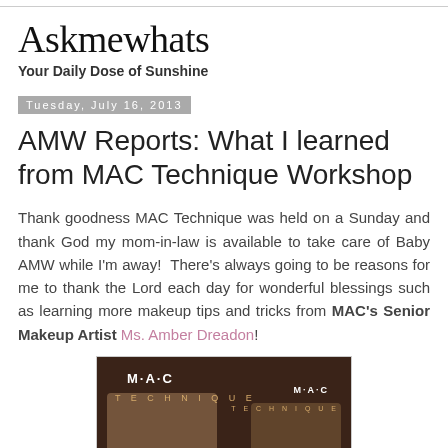Askmewhats
Your Daily Dose of Sunshine
Tuesday, July 16, 2013
AMW Reports: What I learned from MAC Technique Workshop
Thank goodness MAC Technique was held on a Sunday and thank God my mom-in-law is available to take care of Baby AMW while I'm away!  There's always going to be reasons for me to thank the Lord each day for wonderful blessings such as learning more makeup tips and tricks from MAC's Senior Makeup Artist Ms. Amber Dreadon!
[Figure (photo): Photo of MAC Technique branded shopping bags on a dark brown background, with MAC logo and TECHNIQUE text visible on two bags side by side.]